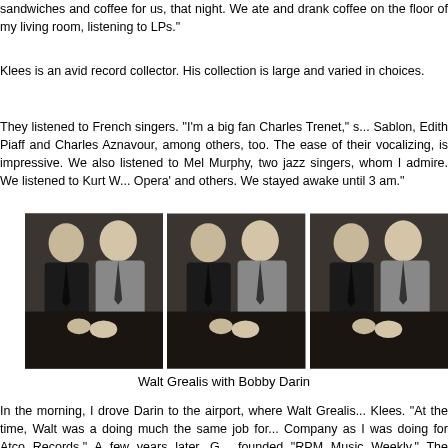sandwiches and coffee for us, that night. We ate and drank coffee on the floor of my living room, listening to LPs."
Klees is an avid record collector. His collection is large and varied in choices.
They listened to French singers. "I'm a big fan Charles Trenet," s... Sablon, Edith Piaff and Charles Aznavour, among others, too. The ease of their vocalizing, is impressive. We also listened to Mel Murphy, two jazz singers, whom I admire. We listened to Kurt W... Opera' and others. We stayed awake until 3 am."
[Figure (photo): Three black and white photos of Walt Grealis with Bobby Darin, showing two men at what appears to be a table or desk.]
Walt Grealis with Bobby Darin
In the morning, I drove Darin to the airport, where Walt Grealis... Klees. "At the time, Walt was a doing much the same job for... Company as I was doing for Atco Records." A few years later, G... founded "RPM Music Weekly." The magazine facilitated the C... Regulations and the explosion of the Canadian Music Industries...